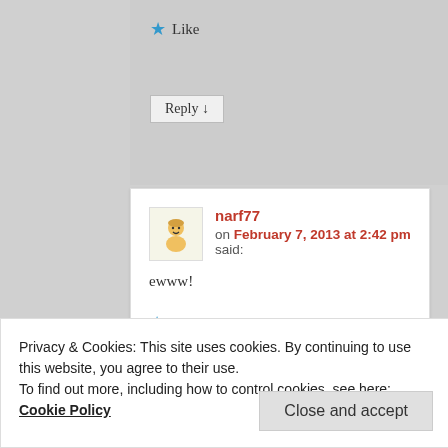★ Like
Reply ↓
narf77 on February 7, 2013 at 2:42 pm said:
ewww!
★ Like
Privacy & Cookies: This site uses cookies. By continuing to use this website, you agree to their use. To find out more, including how to control cookies, see here: Cookie Policy
Close and accept